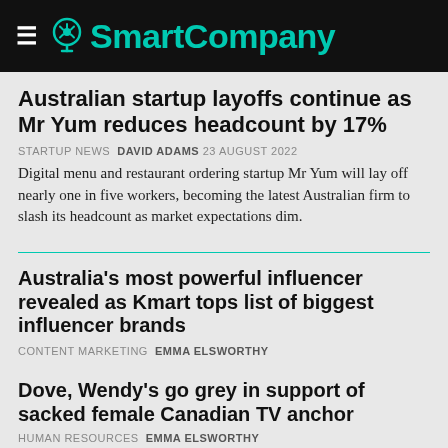SmartCompany
Australian startup layoffs continue as Mr Yum reduces headcount by 17%
STARTUP NEWS  DAVID ADAMS  23 AUGUST 2022
Digital menu and restaurant ordering startup Mr Yum will lay off nearly one in five workers, becoming the latest Australian firm to slash its headcount as market expectations dim.
Australia's most powerful influencer revealed as Kmart tops list of biggest influencer brands
CONTENT MARKETING  EMMA ELSWORTHY
Dove, Wendy's go grey in support of sacked female Canadian TV anchor
HUMAN RESOURCES  EMMA ELSWORTHY